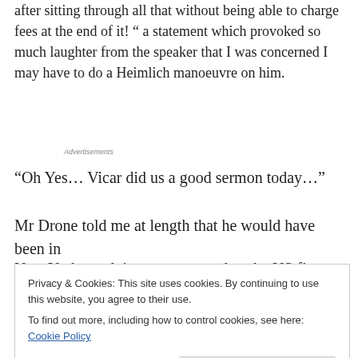after sitting through all that without being able to charge fees at the end of it! ” a statement which provoked so much laughter from the speaker that I was concerned I may have to do a Heimlich manoeuvre on him.
Advertisements
“Oh Yes… Vicar did us a good sermon today…”
Mr Drone told me at length that he would have been in
New York to advise on a merger but the US firm had
Privacy & Cookies: This site uses cookies. By continuing to use this website, you agree to their use.
To find out more, including how to control cookies, see here: Cookie Policy
Close and accept